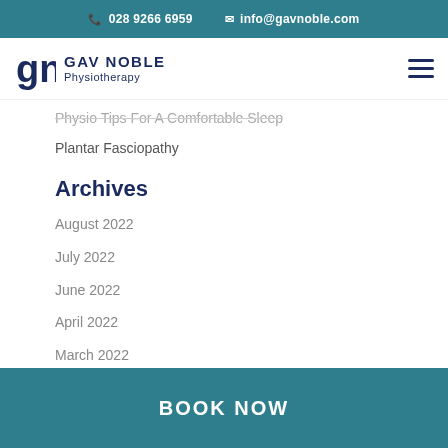028 9266 6959   info@gavnoble.com
[Figure (logo): Gav Noble Physiotherapy logo with 'gn' monogram and company name]
Physio Tips For A Comfortable Sleep
Plantar Fasciopathy
Archives
August 2022
July 2022
June 2022
April 2022
March 2022
BOOK NOW